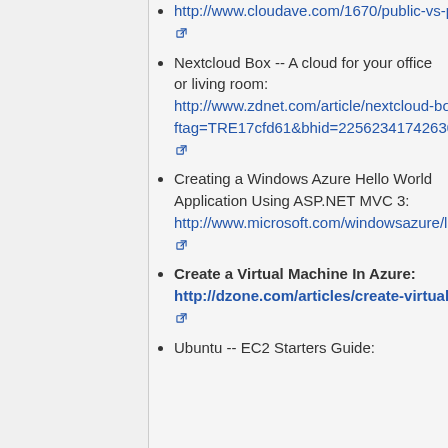http://www.cloudave.com/1670/public-vs-private-cloud-brouhaha-my-take/
Nextcloud Box -- A cloud for your office or living room: http://www.zdnet.com/article/nextcloud-box-a-cloud-for-your-office-or-living-room/?ftag=TRE17cfd61&bhid=22562341742630883520319271226667
Creating a Windows Azure Hello World Application Using ASP.NET MVC 3: http://www.microsoft.com/windowsazure/learn/tutorials/getting-started-web-tutorial/
Create a Virtual Machine In Azure: http://dzone.com/articles/create-virtual-machine-in-azure
Ubuntu -- EC2 Starters Guide: